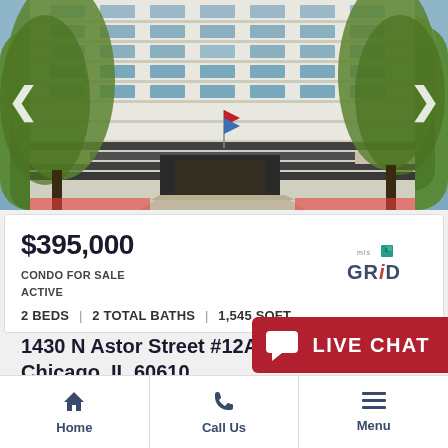[Figure (photo): Exterior photo of a multi-story white condominium building with large trees in front, the building has many balconies and glass windows, entrance stairs visible at street level]
$395,000
CONDO FOR SALE
ACTIVE
2 BEDS | 2 TOTAL BATHS | 1,545 SQFT
1430 N Astor Street #12A
Chicago, IL 60610
[Figure (logo): MLS GRID logo — blue/teal grid-like house icon above the text 'MLS GRID']
LIVE CHAT
Home | Call Us | Menu